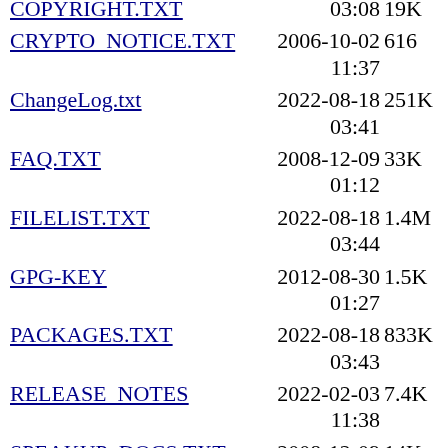COPYRIGHT.TXT  03:08  19K
CRYPTO_NOTICE.TXT  2006-10-02 11:37  616
ChangeLog.txt  2022-08-18 03:41  251K
FAQ.TXT  2008-12-09 01:12  33K
FILELIST.TXT  2022-08-18 03:44  1.4M
GPG-KEY  2012-08-30 01:27  1.5K
PACKAGES.TXT  2022-08-18 03:43  833K
RELEASE_NOTES  2022-02-03 11:38  7.4K
SPEAKUP_DOCS.TXT  2008-12-09 01:13  14K
SPEAK_INSTALL.TXT  2008-12-09 01:13  17K
Slackware-HOWTO  2022-02-02 02:37  56K
UPGRADE.TXT  2022-01-26 12:44  8.5K